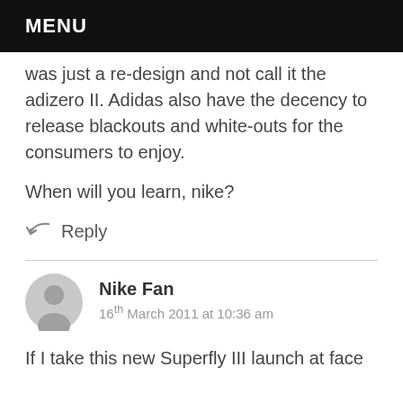MENU
was just a re-design and not call it the adizero II. Adidas also have the decency to release blackouts and white-outs for the consumers to enjoy.
When will you learn, nike?
↩ Reply
Nike Fan
16th March 2011 at 10:36 am
If I take this new Superfly III launch at face